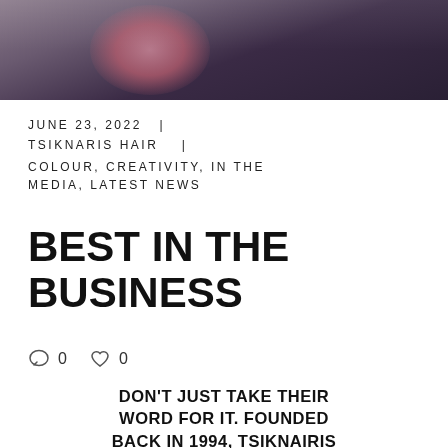[Figure (photo): Cropped photograph showing people standing, partially visible at the top of the page]
JUNE 23, 2022  |
TSIKNARIS HAIR   |
COLOUR, CREATIVITY, IN THE MEDIA, LATEST NEWS
BEST IN THE BUSINESS
0   0
DON'T JUST TAKE THEIR WORD FOR IT. FOUNDED BACK IN 1994, TSIKNAIRIS HAIR HAS PROVED THEMSELVES TO BE THE